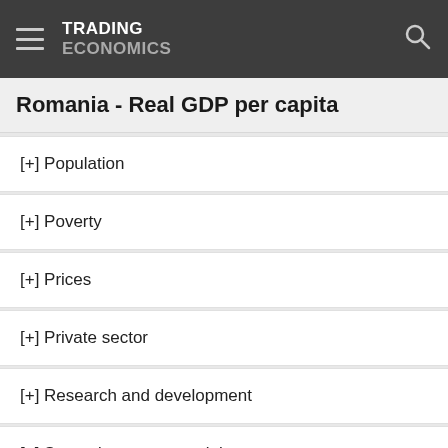TRADING ECONOMICS
Romania - Real GDP per capita
[+] Population
[+] Poverty
[+] Prices
[+] Private sector
[+] Research and development
[+] Secondary raw materials
[+] Services Price Index
[+] Social Indicators